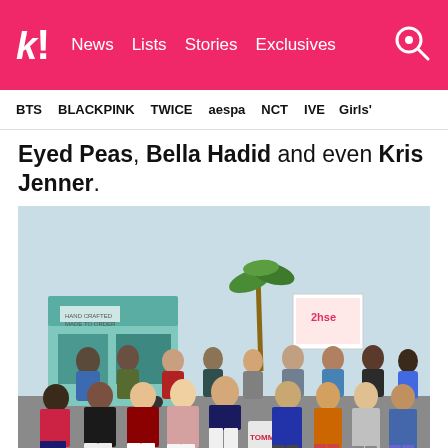k! News Lists Stories Exclusives
BTS BLACKPINK TWICE aespa NCT IVE Girls'
Eyed Peas, Bella Hadid and even Kris Jenner.
[Figure (photo): A large group of people seated in the front row at an outdoor fashion show. In the background there is a food truck and a palm tree. The attendees are dressed in colorful outfits. A sign reading 'TOMMY' is visible. The venue appears to be outdoors near a beach or open area.]